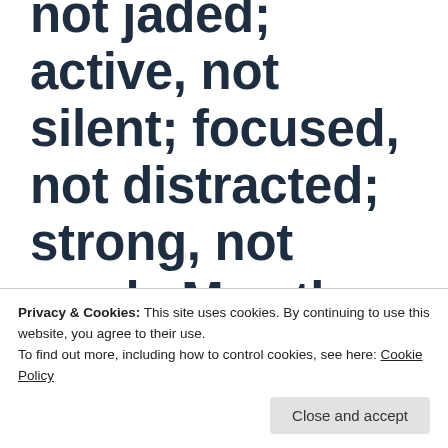not jaded; active, not silent; focused, not distracted; strong, not weak. May those of us who showed up special for this Shabbat continue to honor us with your presence,
Privacy & Cookies: This site uses cookies. By continuing to use this website, you agree to their use.
To find out more, including how to control cookies, see here: Cookie Policy
each of us is grateful to